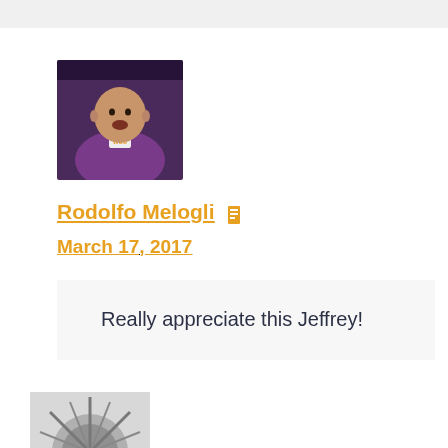[Figure (photo): Profile photo of Rodolfo Melogli, a bald man wearing a lanyard with 'woo' text, in a purple shirt, speaking.]
Rodolfo Melogli 📄
March 17, 2017
Really appreciate this Jeffrey!
Reply ↩
[Figure (photo): Partially visible profile photo showing a spiky/feathered circular design in grey tones.]